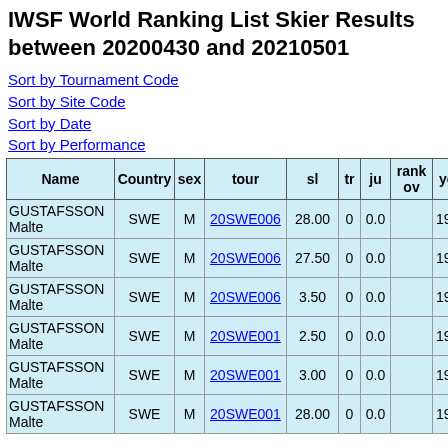IWSF World Ranking List Skier Results between 20200430 and 20210501
Sort by Tournament Code
Sort by Site Code
Sort by Date
Sort by Performance
| Name | Country | sex | tour | sl | tr | ju | rankov | yob |
| --- | --- | --- | --- | --- | --- | --- | --- | --- |
| GUSTAFSSON Malte | SWE | M | 20SWE006 | 28.00 | 0 | 0.0 |  | 1999 |
| GUSTAFSSON Malte | SWE | M | 20SWE006 | 27.50 | 0 | 0.0 |  | 1999 |
| GUSTAFSSON Malte | SWE | M | 20SWE006 | 3.50 | 0 | 0.0 |  | 1999 |
| GUSTAFSSON Malte | SWE | M | 20SWE001 | 2.50 | 0 | 0.0 |  | 1999 |
| GUSTAFSSON Malte | SWE | M | 20SWE001 | 3.00 | 0 | 0.0 |  | 1999 |
| GUSTAFSSON Malte | SWE | M | 20SWE001 | 28.00 | 0 | 0.0 |  | 1999 |